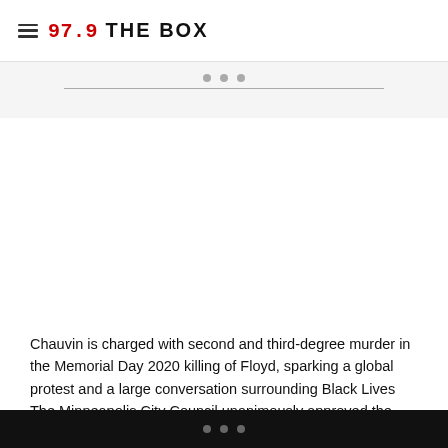97.9 THE BOX
[Figure (other): Three dots navigation indicator and horizontal divider line on a light gray background, indicating an advertisement or content carousel area.]
Chauvin is charged with second and third-degree murder in the Memorial Day 2020 killing of Floyd, sparking a global protest and a large conversation surrounding Black Lives Matter, over-policing and more.
The Minneapolis City Council unanimously approved the
...